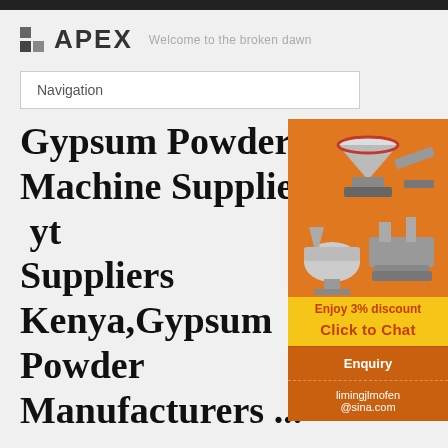APEX — Welcome to the broken dawn
Navigation
Gypsum Powder Grinding Machine Supplier In Kenya, Suppliers Kenya,Gypsum Powder Manufacturers ...
[Figure (infographic): Orange advertisement sidebar with images of industrial crushing/grinding machines, 'Enjoy 3% discount', 'Click to Chat' button, 'Enquiry' section, and email limingjlmofen@sina.com]
Enquiry
limingjlmofen@sina.com